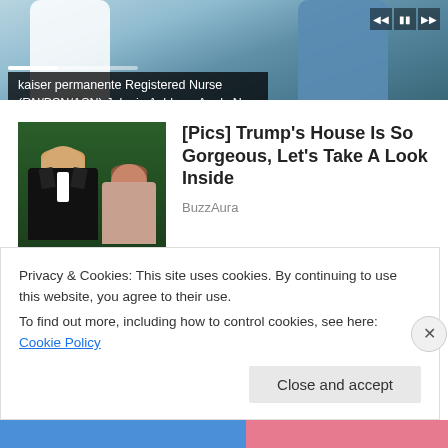[Figure (screenshot): Kaiser Permanente video ad banner showing nurses in scrubs with media controls and progress bar]
kaiser permanente Registered Nurse (RN/BSN/ASN) Jobs in Ashburn Apply Now
[Figure (photo): Thumbnail photo of two people at formal event (man in tuxedo, woman beside him)]
[Pics] Trump's House Is So Gorgeous, Let's Take A Look Inside
BuzzAura
[Figure (photo): Partially visible thumbnail of second article]
Virginia Will Cover The Cost To
Privacy & Cookies: This site uses cookies. By continuing to use this website, you agree to their use.
To find out more, including how to control cookies, see here: Cookie Policy
Close and accept